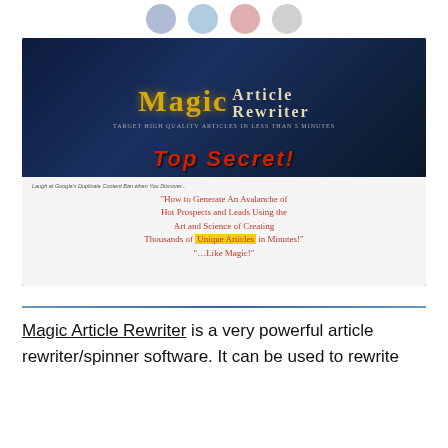[Figure (screenshot): Social media share icons (Facebook, Twitter, Pinterest, email) shown as circular buttons at the top of the page]
[Figure (screenshot): Magic Article Rewriter promotional banner. Top half shows dark blue background with 'MAGIC ARTICLE REWRITER' in gold/cream text, a top hat image, and 'TOP SECRET' stamp in red. Bottom half is white with italic text: 'Laugh at Google's Duplicate Content Ban when You Discover...' followed by a handwritten-style red quote about generating hot prospects and leads using unique articles in minutes, with 'Unique Articles' highlighted in yellow.]
Magic Article Rewriter is a very powerful article rewriter/spinner software. It can be used to rewrite